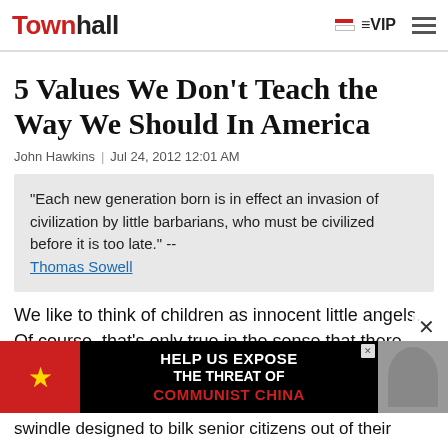Townhall | VIP
5 Values We Don't Teach the Way We Should In America
John Hawkins | Jul 24, 2012 12:01 AM
"Each new generation born is in effect an invasion of civilization by little barbarians, who must be civilized before it is too late." -- Thomas Sowell
We like to think of children as innocent little angels. Of course, that's only true in the sense that there aren't any three year olds who've stabbed their
[Figure (other): Advertisement banner: HELP US EXPOSE THE THREAT OF COMMUNIST CHINA, with Chinese flag imagery and a photo of a person]
swindle designed to bilk senior citizens out of their